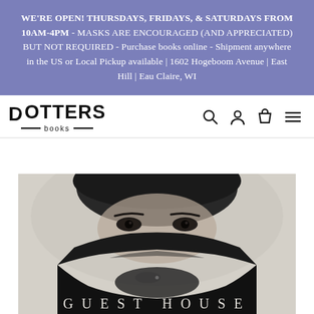WE'RE OPEN! THURSDAYS, FRIDAYS, & SATURDAYS FROM 10AM-4PM - MASKS ARE ENCOURAGED (AND APPRECIATED) BUT NOT REQUIRED - Purchase books online - Shipment anywhere in the US or Local Pickup available | 1602 Hogeboom Avenue | East Hill | Eau Claire, WI
[Figure (logo): Dotters Books logo with stylized D and horizontal lines around 'books']
[Figure (photo): Black and white photo of a person wearing a black head covering pulled up over most of their face, with only their eyes visible. Text 'GUEST HOUSE' appears at the bottom of the image.]